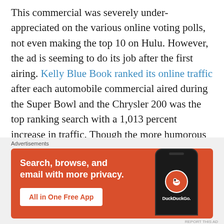This commercial was severely under-appreciated on the various online voting polls, not even making the top 10 on Hulu. However, the ad is seeming to do its job after the first airing. Kelly Blue Book ranked its online traffic after each automobile commercial aired during the Super Bowl and the Chrysler 200 was the top ranking search with a 1,013 percent increase in traffic. Though the more humorous ads received more views and ranked higher, the
[Figure (other): DuckDuckGo advertisement banner on orange/red background. Text reads: 'Search, browse, and email with more privacy. All in One Free App'. Shows a smartphone displaying the DuckDuckGo logo.]